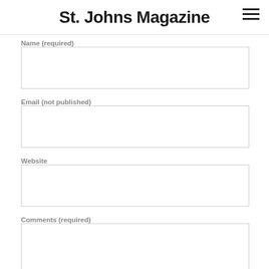St. Johns Magazine
Name (required)
Email (not published)
Website
Comments (required)